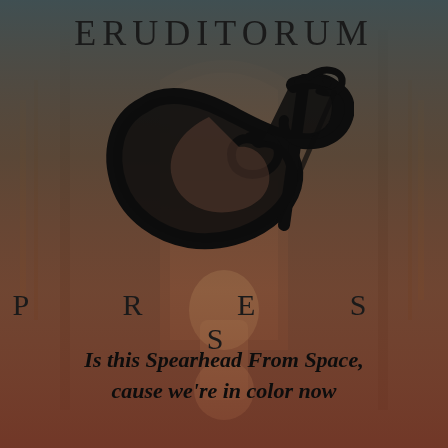[Figure (illustration): Background illustration of a figure in an arched architectural setting with warm reddish-brown tones, overlaid with dark teal/grey gradient at top and reddish gradient at bottom]
ERUDITORUM
[Figure (logo): Eruditorum Press logo: stylized cursive 'EP' monogram in black with flowing calligraphic strokes]
PRESS
Is this Spearhead From Space, cause we're in color now